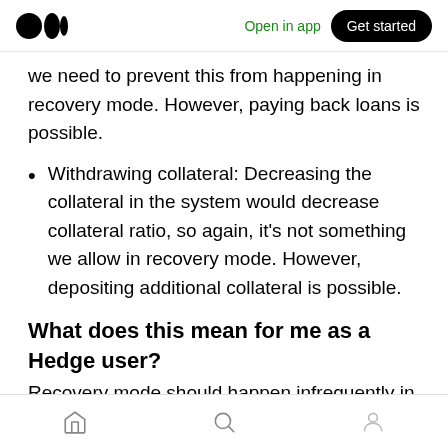Medium app header: logo, Open in app, Get started
we need to prevent this from happening in recovery mode. However, paying back loans is possible.
Withdrawing collateral: Decreasing the collateral in the system would decrease collateral ratio, so again, it's not something we allow in recovery mode. However, depositing additional collateral is possible.
What does this mean for me as a Hedge user?
Recovery mode should happen infrequently in the